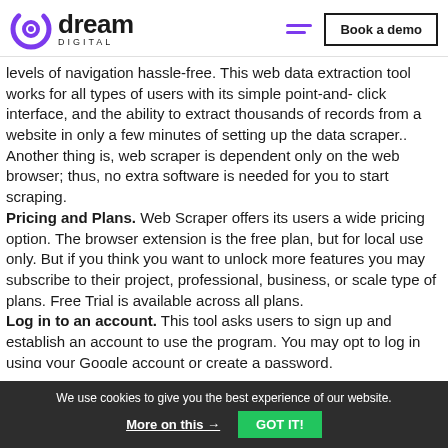dream DIGITAL — Book a demo
levels of navigation hassle-free. This web data extraction tool works for all types of users with its simple point-and-click interface, and the ability to extract thousands of records from a website in only a few minutes of setting up the data scraper.. Another thing is, web scraper is dependent only on the web browser; thus, no extra software is needed for you to start scraping. Pricing and Plans. Web Scraper offers its users a wide pricing option. The browser extension is the free plan, but for local use only. But if you think you want to unlock more features you may subscribe to their project, professional, business, or scale type of plans. Free Trial is available across all plans. Log in to an account. This tool asks users to sign up and establish an account to use the program. You may opt to log in using your Google account or create a password. Check out tutorials first before scraping. Web scraper
We use cookies to give you the best experience of our website. More on this → GOT IT!